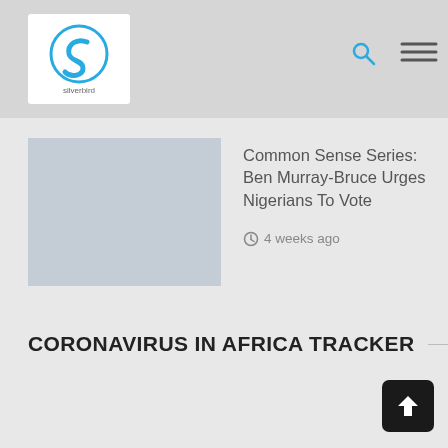silverbird
[Figure (photo): Silverbird logo — blue circular S icon on white background with 'silverbird' text below]
Common Sense Series: Ben Murray-Bruce Urges Nigerians To Vote
4 weeks ago
[Figure (photo): Placeholder article thumbnail image (grey rectangle)]
CORONAVIRUS IN AFRICA TRACKER